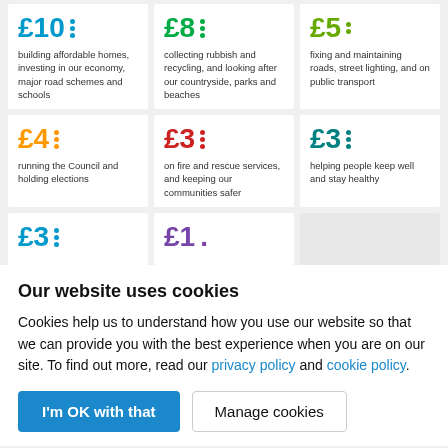[Figure (infographic): Grid of spending cards showing how council tax is spent per pound: £10 building affordable homes etc., £8 collecting rubbish and recycling etc., £5 fixing and maintaining roads etc., £4 running the Council and holding elections, £3 on fire and rescue services, £3 helping people keep well and stay healthy, £3 (partially visible), £1 (partially visible)]
Our website uses cookies
Cookies help us to understand how you use our website so that we can provide you with the best experience when you are on our site. To find out more, read our privacy policy and cookie policy.